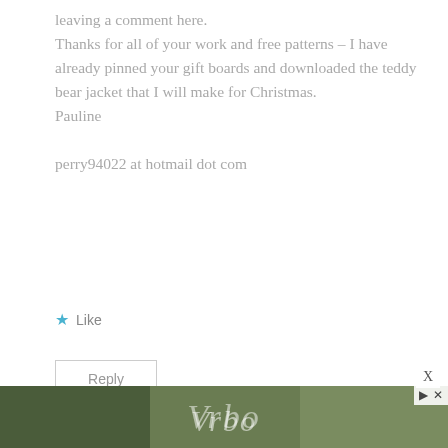leaving a comment here.
Thanks for all of your work and free patterns – I have already pinned your gift boards and downloaded the teddy bear jacket that I will make for Christmas.
Pauline
perry94022 at hotmail dot com
★ Like
Reply
[Figure (screenshot): Advertisement banner for Vrbo showing outdoor/garden scene with Vrbo logo in white script text, with navigation controls (play/close) in top right corner. An X close button appears above the ad.]